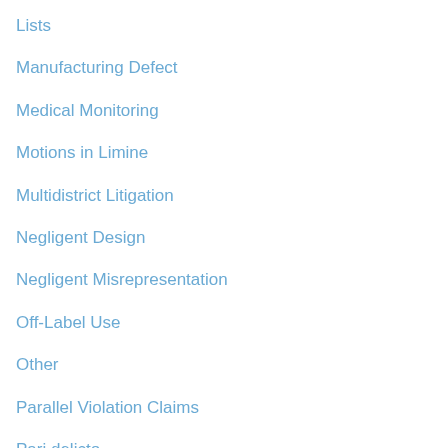Lists
Manufacturing Defect
Medical Monitoring
Motions in Limine
Multidistrict Litigation
Negligent Design
Negligent Misrepresentation
Off-Label Use
Other
Parallel Violation Claims
Pari delicto
Personal Jurisdiction